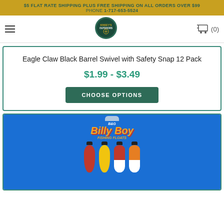$5 FLAT RATE SHIPPING PLUS FREE SHIPPING ON ALL ORDERS OVER $99
PHONE 1-717-653-5524
[Figure (logo): Kinsey's Outdoors circular logo with shopping cart icon (0)]
Eagle Claw Black Barrel Swivel with Safety Snap 12 Pack
$1.99 - $3.49
CHOOSE OPTIONS
[Figure (photo): Billy Boy fishing floats/bobbers on blue packaging card - 4 floats in red, yellow, red/white, and orange/white colors]